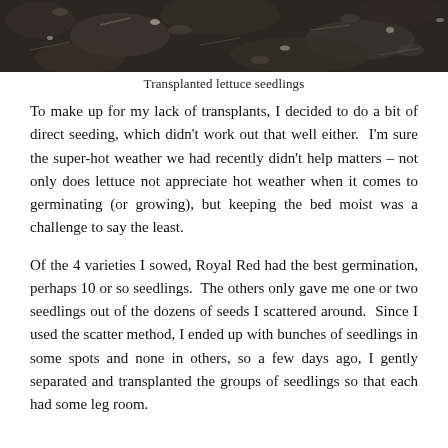[Figure (photo): Close-up photograph of dark soil/dirt, likely a garden bed with transplanted lettuce seedlings, showing dark mulch or moist earth texture.]
Transplanted lettuce seedlings
To make up for my lack of transplants, I decided to do a bit of direct seeding, which didn't work out that well either.  I'm sure the super-hot weather we had recently didn't help matters – not only does lettuce not appreciate hot weather when it comes to germinating (or growing), but keeping the bed moist was a challenge to say the least.
Of the 4 varieties I sowed, Royal Red had the best germination, perhaps 10 or so seedlings.  The others only gave me one or two seedlings out of the dozens of seeds I scattered around.  Since I used the scatter method, I ended up with bunches of seedlings in some spots and none in others, so a few days ago, I gently separated and transplanted the groups of seedlings so that each had some leg room.